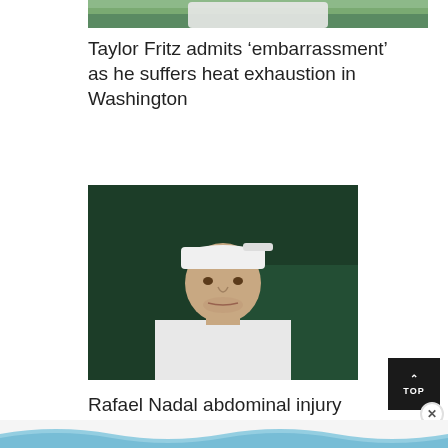[Figure (photo): Partial photo of a tennis player at the top of the page (cropped, only lower portion visible)]
Taylor Fritz admits ‘embarrassment’ as he suffers heat exhaustion in Washington
[Figure (photo): Photo of Rafael Nadal wearing a white backwards cap and white shirt, with a dark green background]
Rafael Nadal abdominal injury causing ‘discomfort’ as he withdraws from Canadian Masters